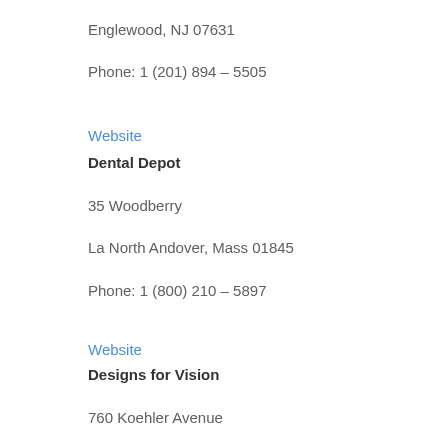Englewood, NJ 07631
Phone: 1 (201) 894 – 5505
Website
Dental Depot
35 Woodberry
La North Andover, Mass 01845
Phone: 1 (800) 210 – 5897
Website
Designs for Vision
760 Koehler Avenue
Ronkonkoma, NY 11779